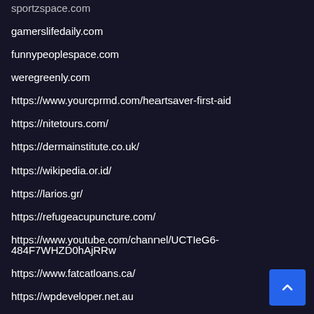sportzspace.com
gamerslifedaily.com
funnypeoplespace.com
weregreenly.com
https://www.yourcprmd.com/heartsaver-first-aid
https://nitetours.com/
https://dermainstitute.co.uk/
https://wikipedia.or.id/
https://larios.gr/
https://refugeacupuncture.com/
https://www.youtube.com/channel/UCTIeG6-484F7WHZD0hAjRRw
https://www.fatcatloans.ca/
https://wpdeveloper.net.au
https://imedenver.com/
https://cbdlascolinas.com/